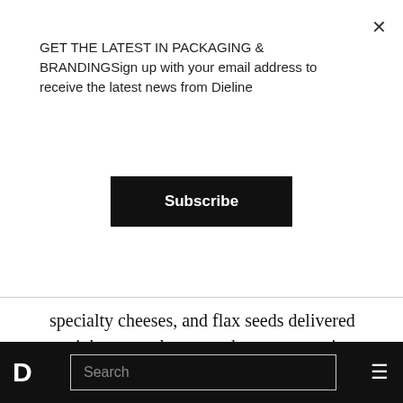GET THE LATEST IN PACKAGING & BRANDINGSign up with your email address to receive the latest news from Dieline
Subscribe
specialty cheeses, and flax seeds delivered straight to our door sounds pretty amazing, we also wanted to dig a little deeper to learn what this acquisition might mean for the future of grocery shopping. We spoke with retail and branding experts Gregg Lipman and Todd Maute, Partners at CBX to gain more insight on what consumers can expect.
D  Search  ☰